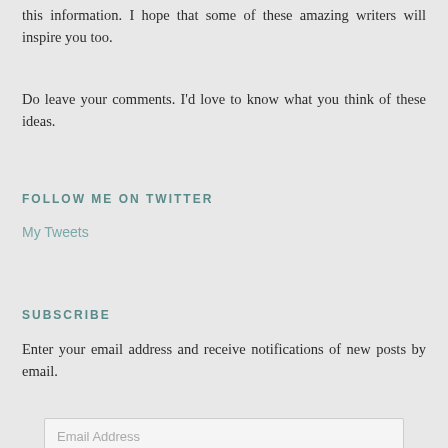this information. I hope that some of these amazing writers will inspire you too.
Do leave your comments. I'd love to know what you think of these ideas.
FOLLOW ME ON TWITTER
My Tweets
SUBSCRIBE
Enter your email address and receive notifications of new posts by email.
Email Address